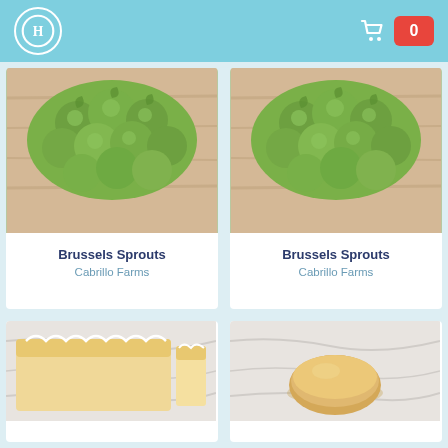Header navigation with logo and cart (0 items)
[Figure (photo): Brussels sprouts vegetables piled on a wooden surface - left product card]
Brussels Sprouts
Cabrillo Farms
[Figure (photo): Brussels sprouts vegetables piled on a wooden surface - right product card]
Brussels Sprouts
Cabrillo Farms
[Figure (photo): Sliced loaf cake with white icing drizzle on marble surface - bottom left]
[Figure (photo): Round cookie or biscuit on marble surface - bottom right]